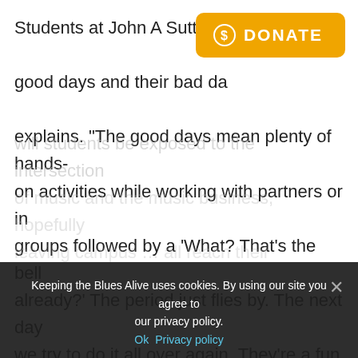Students at John A Sutter Mid… good days and their bad day… explains. “The good days mean plenty of hands-on activities while working with partners or in groups followed by a ‘What? That’s the bell already?’ The period just flies by. The next day we try to do it all over again. They’re a fun bunch and full of energy.”

As a Recording Academy member, I was especially drawn to this project because not only
[Figure (other): Orange donate button with dollar-sign icon and text DONATE]
Keeping the Blues Alive uses cookies. By using our site you agree to our privacy policy.